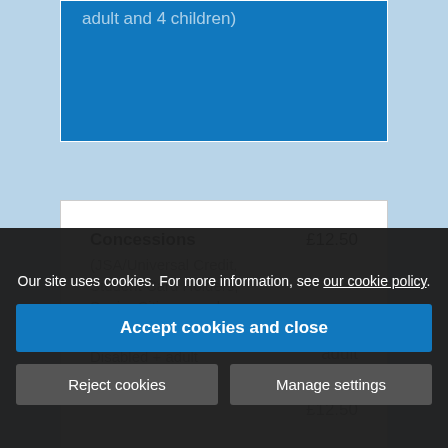adult and 4 children)
| Item | Price |
| --- | --- |
| Concessions (JSA/Universal Credit, Student Card Holders, Senior Citizens and Services) | £12.50 |
| Disabled + adult (Carer goes free) | £13.50 |
|  | £12.50 |
Our site uses cookies. For more information, see our cookie policy.
Accept cookies and close
Reject cookies
Manage settings